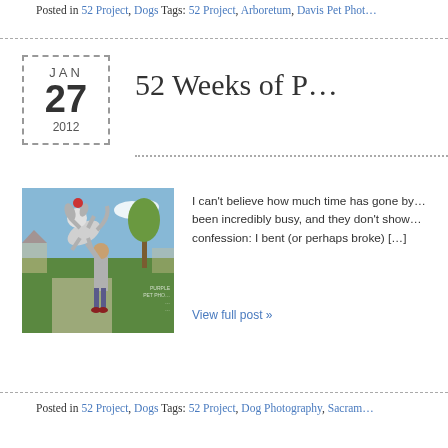Posted in 52 Project, Dogs Tags: 52 Project, Arboretum, Davis Pet Phot…
[Figure (photo): Date stamp box showing JAN 27 2012 with dashed border]
52 Weeks of P…
[Figure (photo): Outdoor photo of a person with a large dog jumping up in a park setting, watermark reads PURPLE PET PHO… text visible]
I can't believe how much time has gone by… been incredibly busy, and they don't show… confession: I bent (or perhaps broke) […]
View full post »
Posted in 52 Project, Dogs Tags: 52 Project, Dog Photography, Sacram…